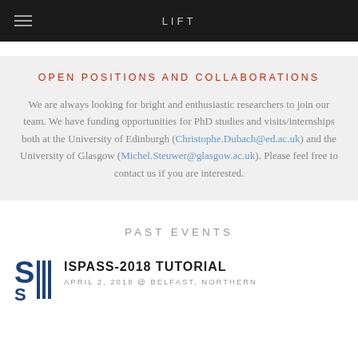LIFT
OPEN POSITIONS AND COLLABORATIONS
We are always looking for bright and enthusiastic researchers to join our team. We have funding opportunities for PhD studies and visits/internships both at the University of Edinburgh (Christophe.Dubach@ed.ac.uk) and the University of Glasgow (Michel.Steuwer@glasgow.ac.uk). Please feel free to contact us if you are interested.
PAST EVENTS
ISPASS-2018 TUTORIAL
APRIL 2, 2018 @ BELFAST, NORTHERN